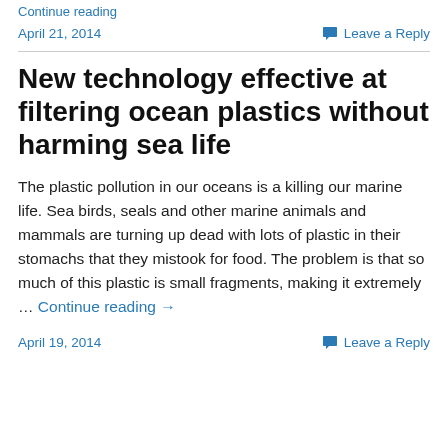Continue reading
April 21, 2014    Leave a Reply
New technology effective at filtering ocean plastics without harming sea life
The plastic pollution in our oceans is a killing our marine life. Sea birds, seals and other marine animals and mammals are turning up dead with lots of plastic in their stomachs that they mistook for food. The problem is that so much of this plastic is small fragments, making it extremely … Continue reading →
April 19, 2014    Leave a Reply